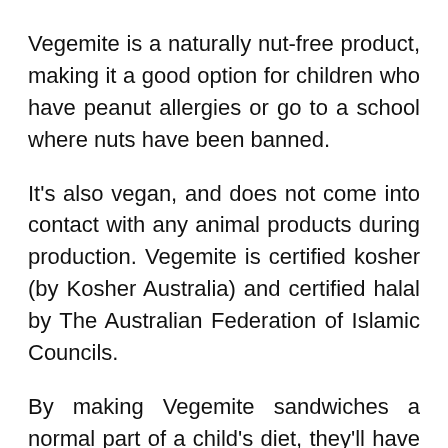Vegemite is a naturally nut-free product, making it a good option for children who have peanut allergies or go to a school where nuts have been banned.
It's also vegan, and does not come into contact with any animal products during production. Vegemite is certified kosher (by Kosher Australia) and certified halal by The Australian Federation of Islamic Councils.
By making Vegemite sandwiches a normal part of a child's diet, they'll have a cheap, fast,